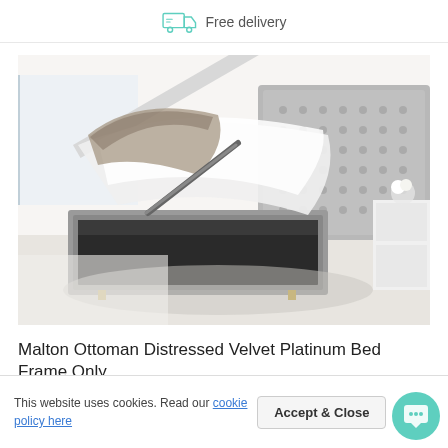Free delivery
[Figure (photo): Ottoman storage bed with distressed velvet platinum upholstery, showing the base lifted open revealing storage space. Tall button-tufted headboard visible. White bedding partially on the open base. White bedside table with flowers in background. Light grey bedroom setting.]
Malton Ottoman Distressed Velvet Platinum Bed Frame Only
This website uses cookies. Read our cookie policy here
Accept & Close